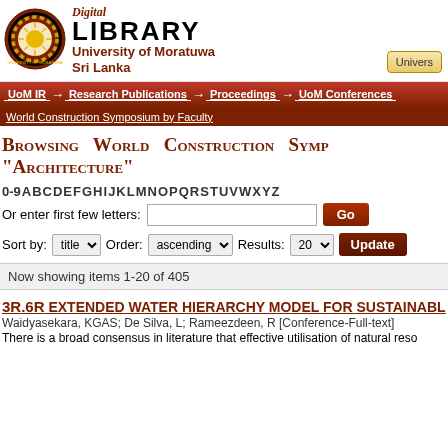[Figure (logo): University of Moratuwa crest/seal logo]
Digital LIBRARY University of Moratuwa Sri Lanka
Univers
UoM IR → Research Publications → Proceedings → UoM Conferences
World Construction Symposium by Faculty
Browsing World Construction Symp "Architecture"
0-9 A B C D E F G H I J K L M N O P Q R S T U V W X Y Z
Or enter first few letters:
Sort by: title  Order: ascending  Results: 20  Update
Now showing items 1-20 of 405
3R.6R EXTENDED WATER HIERARCHY MODEL FOR SUSTAINABLE USE OF WAT
Waidyasekara, KGAS; De Silva, L; Rameezdeen, R [Conference-Full-text]
There is a broad consensus in literature that effective utilisation of natural reso